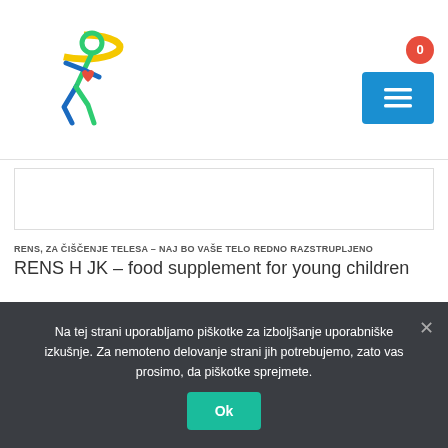[Figure (logo): Stylized running figure with heart logo in yellow, green, blue colors]
0
[Figure (other): Blue hamburger menu button with three horizontal lines]
[Figure (other): Product image placeholder box]
RENS, ZA ČIŠČENJE TELESA – NAJ BO VAŠE TELO REDNO RAZSTRUPLJENO
RENS H JK – food supplement for young children
★★★★★
100,00 € incl. VAT
ADD TO CART
Na tej strani uporabljamo piškotke za izboljšanje uporabniške izkušnje. Za nemoteno delovanje strani jih potrebujemo, zato vas prosimo, da piškotke sprejmete.
Ok